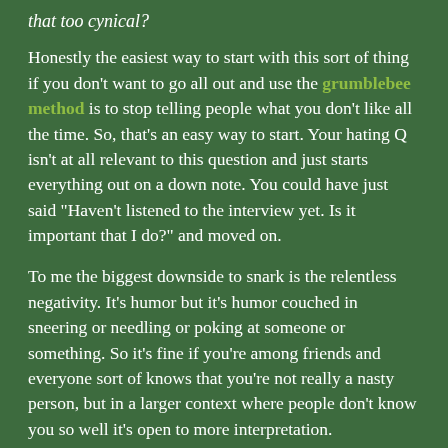that too cynical?
Honestly the easiest way to start with this sort of thing if you don't want to go all out and use the grumblebee method is to stop telling people what you don't like all the time. So, that's an easy way to start. Your hating Q isn't at all relevant to this question and just starts everything out on a down note. You could have just said "Haven't listened to the interview yet. Is it important that I do?" and moved on.
To me the biggest downside to snark is the relentless negativity. It's humor but it's humor couched in sneering or needling or poking at someone or something. So it's fine if you're among friends and everyone sort of knows that you're not really a nasty person, but in a larger context where people don't know you so well it's open to more interpretation.